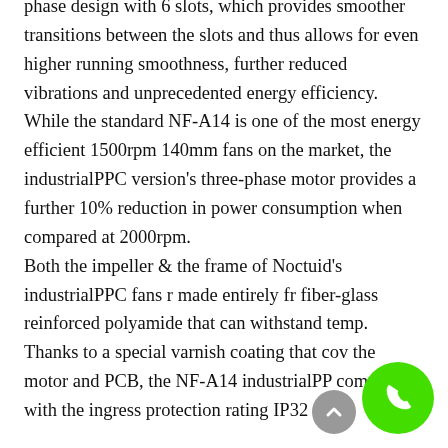phase design with 6 slots, which provides smoother transitions between the slots and thus allows for even higher running smoothness, further reduced vibrations and unprecedented energy efficiency. While the standard NF-A14 is one of the most energy efficient 1500rpm 140mm fans on the market, the industrialPPC version's three-phase motor provides a further 10% reduction in power consumption when compared at 2000rpm. Both the impeller & the frame of Noctuid's industrialPPC fans r made entirely fr fiber-glass reinforced polyamide that can withstand temp. Thanks to a special varnish coating that cov the motor and PCB, the NF-A14 industrialPP complies with the ingress protection rating IP32
[Figure (other): Green circular phone/call button overlay in bottom right corner, with a grey scroll-up button partially visible to its left]